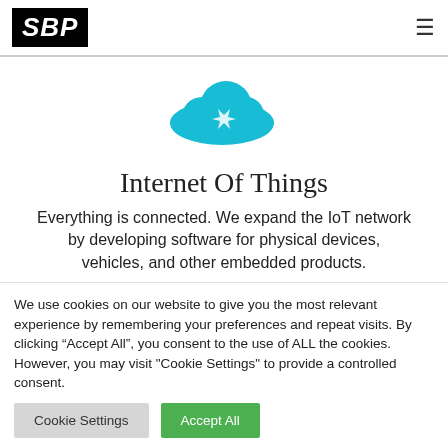SBP
[Figure (illustration): Teal/cyan cloud icon with a lightning bolt or star highlight]
Internet Of Things
Everything is connected. We expand the IoT network by developing software for physical devices, vehicles, and other embedded products.
We use cookies on our website to give you the most relevant experience by remembering your preferences and repeat visits. By clicking “Accept All”, you consent to the use of ALL the cookies. However, you may visit "Cookie Settings" to provide a controlled consent.